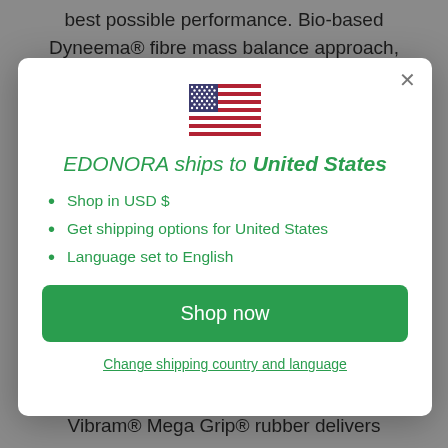best possible performance. Bio-based Dyneema® fibre mass balance approach,
[Figure (illustration): US flag emoji / icon displayed at top center of modal]
EDONORA ships to United States
Shop in USD $
Get shipping options for United States
Language set to English
Shop now
Change shipping country and language
with a 30% reduction in overall sole weight. Vibram® Mega Grip® rubber delivers